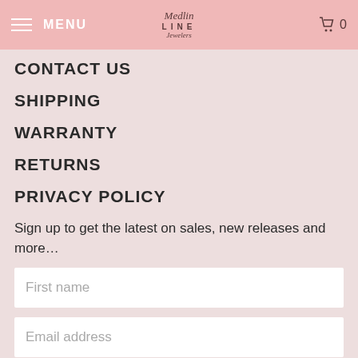MENU  [Medlin Line Jewelers logo]  0
CONTACT US
SHIPPING
WARRANTY
RETURNS
PRIVACY POLICY
Sign up to get the latest on sales, new releases and more…
First name
Email address
Sign Up